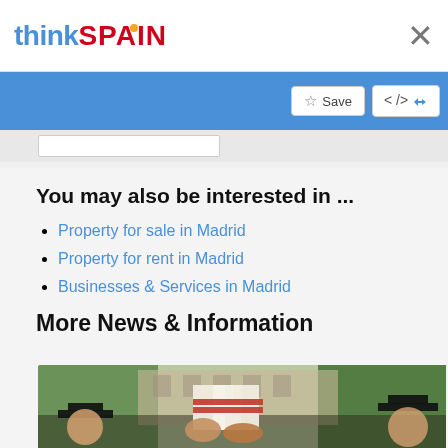thinkSPAIN
You may also be interested in ...
Property for sale in Madrid
Property for rent in Madrid
Businesses & Services in Madrid
More News & Information
[Figure (photo): Graduation photo showing students in caps and gowns holding diplomas tied with red ribbon, outdoors with trees and building in background]